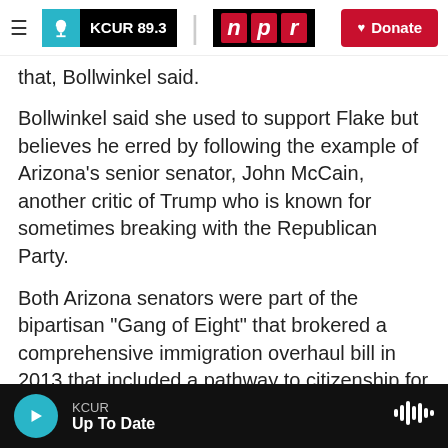KCUR 89.3 | npr | Donate
that,  Bollwinkel said.
Bollwinkel said she used to support Flake but believes he erred by following the example of Arizona's senior senator, John McCain, another critic of Trump who is known for sometimes breaking with the Republican Party.
Both Arizona senators were part of the bipartisan "Gang of Eight" that brokered a comprehensive immigration overhaul bill in 2013 that included a pathway to citizenship for unauthorized immigrants living in the country. Although the bill passed the Senate, it was never approved by the House
KCUR | Up To Date